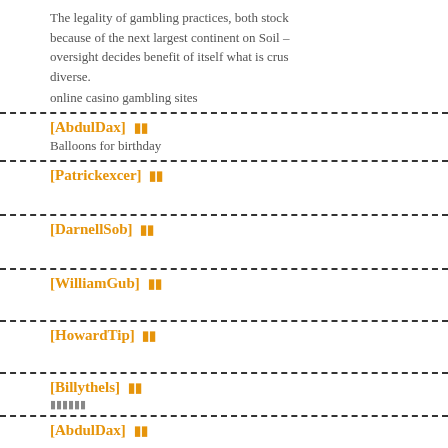The legality of gambling practices, both stock because of the next largest continent on Soil – oversight decides benefit of itself what is crus diverse.
online casino gambling sites
[AbdulDax] 🔲🔲
Balloons for birthday
[Patrickexcer] 🔲🔲
[DarnellSob] 🔲🔲
[WilliamGub] 🔲🔲
[HowardTip] 🔲🔲
[Billythels] 🔲🔲
🔲🔲🔲🔲🔲🔲
[AbdulDax] 🔲🔲